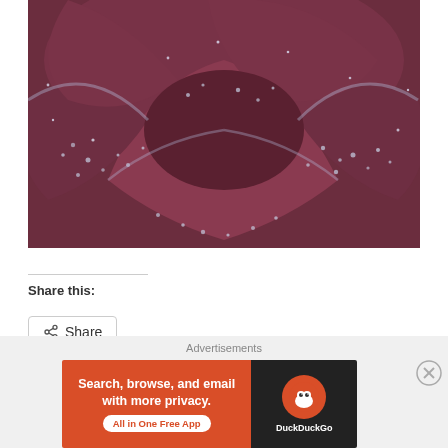[Figure (photo): Close-up macro photograph of deep red/burgundy rose petals covered with tiny water droplets/dew drops that glisten and sparkle on the petal edges]
Share this:
[Figure (other): Share button with share icon]
[Figure (other): DuckDuckGo advertisement banner: 'Search, browse, and email with more privacy. All in One Free App' with DuckDuckGo logo]